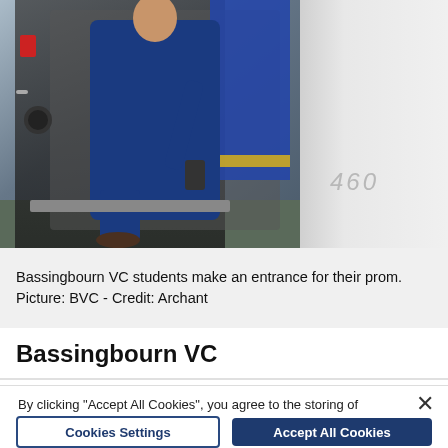[Figure (photo): A person in a blue suit stepping out of or into a large white truck/vehicle (Volvo, number 460 visible). Blue and gold curtains visible inside. The person is holding something in their hand. This is taken at a school prom event for Bassingbourn VC students.]
Bassingbourn VC students make an entrance for their prom. Picture: BVC - Credit: Archant
Bassingbourn VC
By clicking "Accept All Cookies", you agree to the storing of cookies on your device to enhance site navigation, analyze site usage, and assist in our marketing efforts.
Cookies Settings
Accept All Cookies